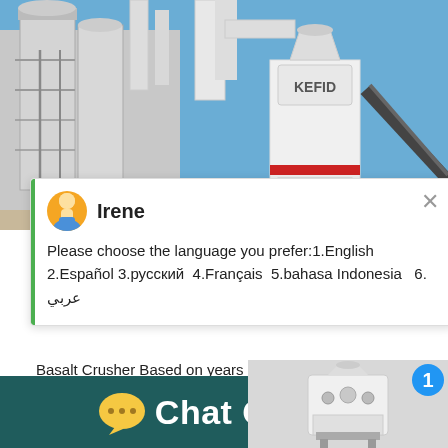[Figure (photo): Industrial grinding mill equipment (branded KEFID) on an outdoor site with blue sky, conveyor belts, and silos]
[Figure (screenshot): Live chat popup with agent Irene asking user to choose language: 1.English 2.Español 3.русский 4.Français 5.bahasa Indonesia 6. عربي]
Please choose the language you prefer:1.English  2.Español 3.русский  4.Français  5.bahasa Indonesia   6. عربي
Basalt Crusher Based on years of production absorb technology advantages from the same domestic, organizing elite basalt crushing exp
[Figure (photo): Small thumbnail of cone crusher machine with notification badge showing 1 and Click me to chat>> button]
Chat Online